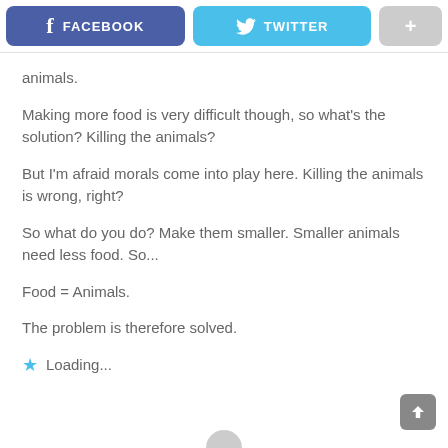[Figure (screenshot): Social sharing buttons: Facebook (blue-purple), Twitter (light blue), and a plus button (grey)]
animals.
Making more food is very difficult though, so what's the solution? Killing the animals?
But I'm afraid morals come into play here. Killing the animals is wrong, right?
So what do you do? Make them smaller. Smaller animals need less food. So...
Food = Animals.
The problem is therefore solved.
Loading...